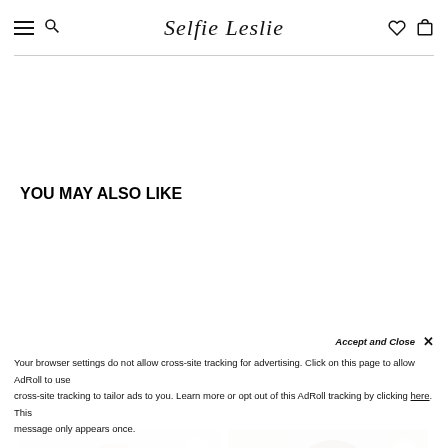Selfie Leslie — navigation header with hamburger menu, search, logo, wishlist and bag icons
YOU MAY ALSO LIKE
[Figure (photo): Woman with long blonde hair and white floral headpiece, back-facing, in white dress — product card with heart/wishlist button]
[Figure (photo): Woman with dark wavy hair wearing white lace dress with v-neck and bishop sleeves — product card with heart/wishlist button]
Accept and Close
Your browser settings do not allow cross-site tracking for advertising. Click on this page to allow AdRoll to use cross-site tracking to tailor ads to you. Learn more or opt out of this AdRoll tracking by clicking here. This message only appears once.